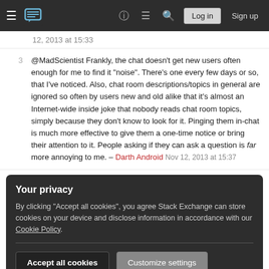Stack Exchange navigation bar with hamburger menu, logo, help, chat, search icons, Log in and Sign up buttons
12, 2013 at 15:33
3 @MadScientist Frankly, the chat doesn't get new users often enough for me to find it "noise". There's one every few days or so, that I've noticed. Also, chat room descriptions/topics in general are ignored so often by users new and old alike that it's almost an Internet-wide inside joke that nobody reads chat room topics, simply because they don't know to look for it. Pinging them in-chat is much more effective to give them a one-time notice or bring their attention to it. People asking if they can ask a question is far more annoying to me. – Darth Android Nov 12, 2013 at 15:37
Your privacy
By clicking "Accept all cookies", you agree Stack Exchange can store cookies on your device and disclose information in accordance with our Cookie Policy.
Accept all cookies
Customize settings
check out the chat rooms for the first time, just to see